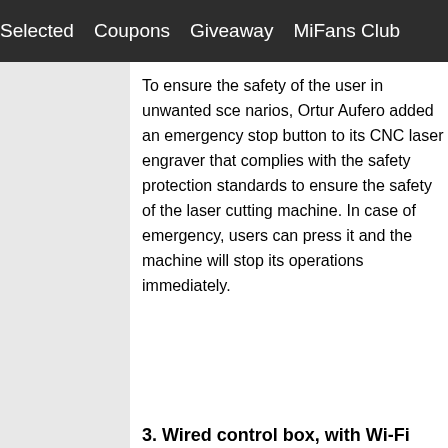Selected   Coupons   Giveaway   MiFans Club
To ensure the safety of the user in unwanted sce… emergency stop button to its CNC laser engraver… with the safety protection standards to ensure the… laser cutting machine. In case of emergency, use… machine will stop its operations immediately.
3. Wired control box, with Wi-Fi module + 3…
The CNC laser engraver machine provides the us… methods. The Ortur Aufero laser engraver provid… 3.2-inch touch screen, and a USB connection. Th…